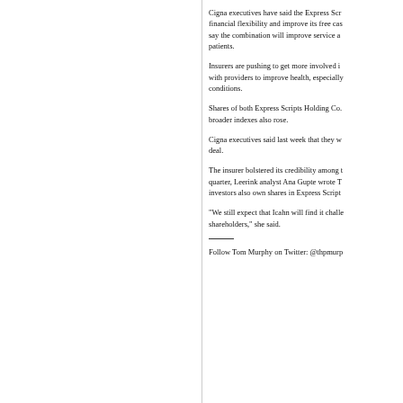Cigna executives have said the Express Scripts deal will give it more financial flexibility and improve its free cash flow. Company executives say the combination will improve service and lower costs for employers and patients.
Insurers are pushing to get more involved in patient care and work with providers to improve health, especially for people with chronic conditions.
Shares of both Express Scripts Holding Co. and Cigna rose Wednesday. broader indexes also rose.
Cigna executives said last week that they would push for approval of the deal.
The insurer bolstered its credibility among investors with a strong first quarter, Leerink analyst Ana Gupte wrote Thursday. She noted that Cigna investors also own shares in Express Scripts.
"We still expect that Icahn will find it challenging to sway Cigna shareholders," she said.
Follow Tom Murphy on Twitter: @thpmurp